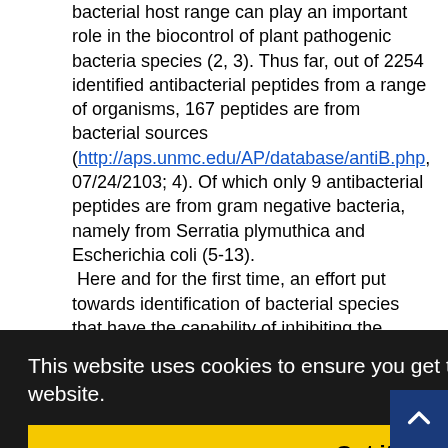bacterial host range can play an important role in the biocontrol of plant pathogenic bacteria species (2, 3). Thus far, out of 2254 identified antibacterial peptides from a range of organisms, 167 peptides are from bacterial sources (http://aps.unmc.edu/AP/database/antiB.php, 07/24/2103; 4). Of which only 9 antibacterial peptides are from gram negative bacteria, namely from Serratia plymuthica and Escherichia coli (5-13).
 Here and for the first time, an effort put towards identification of bacterial species that have the capability of inhibiting the growth of Xanthomonas citri subsp. citri (Xcc). Additionally, the bacterial secretomes were surveyed in order to pinpoint the possible anti-Xcc factors that may have the dominant role. The ... use of the ... ulation, if ... pecies. ... ial culture ... al growth ... urpose an ... multifacete
In order to avoid factorial experiments with multifaceted combinations of factors, To achieve the...